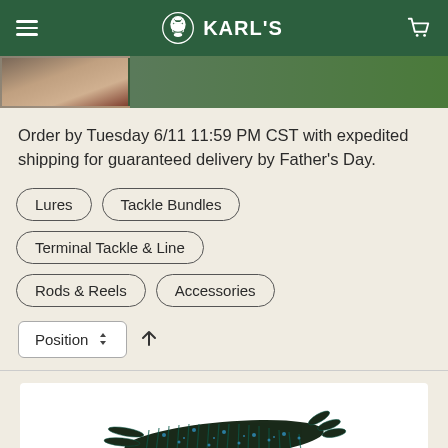KARL'S
[Figure (photo): Hero banner image showing a person and green background]
Order by Tuesday 6/11 11:59 PM CST with expedited shipping for guaranteed delivery by Father's Day.
Lures
Tackle Bundles
Terminal Tackle & Line
Rods & Reels
Accessories
Position ⬍ ↑
[Figure (photo): Product image of a dark blue/black fishing lure (creature bait) on a white background]